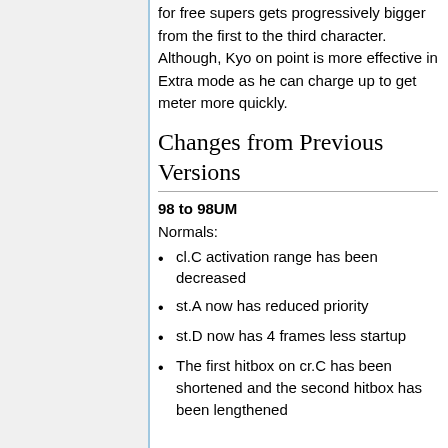for free supers gets progressively bigger from the first to the third character. Although, Kyo on point is more effective in Extra mode as he can charge up to get meter more quickly.
Changes from Previous Versions
98 to 98UM
Normals:
cl.C activation range has been decreased
st.A now has reduced priority
st.D now has 4 frames less startup
The first hitbox on cr.C has been shortened and the second hitbox has been lengthened